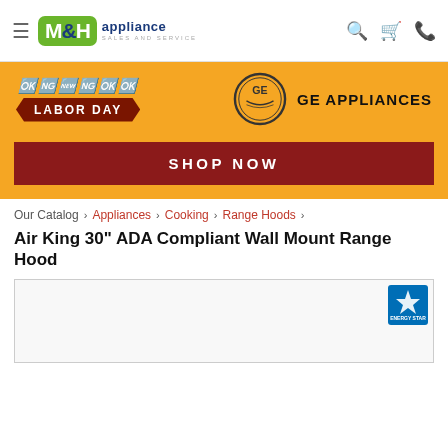M&H appliance SALES AND SERVICE — navigation header with search, cart, and phone icons
[Figure (infographic): Orange Labor Day promotional banner featuring GE Appliances logo and text]
[Figure (infographic): SHOP NOW dark red button on orange background]
Our Catalog › Appliances › Cooking › Range Hoods ›
Air King 30" ADA Compliant Wall Mount Range Hood
[Figure (photo): Product image area with Energy Star badge in top right corner]